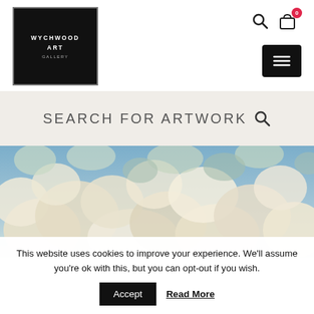[Figure (logo): Wychwood Art Gallery logo — black square with white text reading WYCHWOOD ART GALLERY]
[Figure (screenshot): Navigation bar icons: search magnifier, shopping cart with red badge showing 0, and black hamburger menu button]
SEARCH FOR ARTWORK
[Figure (illustration): Decorative artwork image with blue sky and white/cream floral or cloud-like forms, abstract nature scene]
This website uses cookies to improve your experience. We'll assume you're ok with this, but you can opt-out if you wish.
Accept   Read More